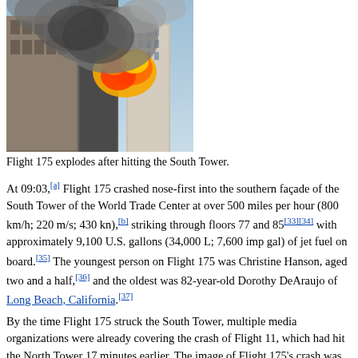[Figure (photo): Photograph of smoke and flames exploding from the South Tower of the World Trade Center after being struck by Flight 175, with surrounding buildings visible.]
Flight 175 explodes after hitting the South Tower.
At 09:03,[a] Flight 175 crashed nose-first into the southern façade of the South Tower of the World Trade Center at over 500 miles per hour (800 km/h; 220 m/s; 430 kn),[b] striking through floors 77 and 85[33][34] with approximately 9,100 U.S. gallons (34,000 L; 7,600 imp gal) of jet fuel on board.[35] The youngest person on Flight 175 was Christine Hanson, aged two and a half,[36] and the oldest was 82-year-old Dorothy DeAraujo of Long Beach, California.[37]
By the time Flight 175 struck the South Tower, multiple media organizations were already covering the crash of Flight 11, which had hit the North Tower 17 minutes earlier. The image of Flight 175's crash was thus caught on video from multiple vantage